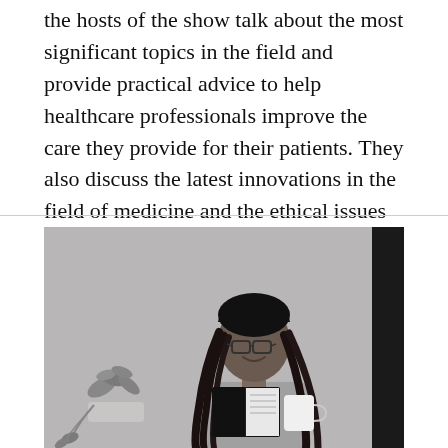the hosts of the show talk about the most significant topics in the field and provide practical advice to help healthcare professionals improve the care they provide for their patients. They also discuss the latest innovations in the field of medicine and the ethical issues that affect the treatment of children.
[Figure (photo): A woman with long braids and glasses sits smiling while reading a book and holding a white mug. A potted plant is visible to the left. The photo is in black-and-white tones with a grey background.]